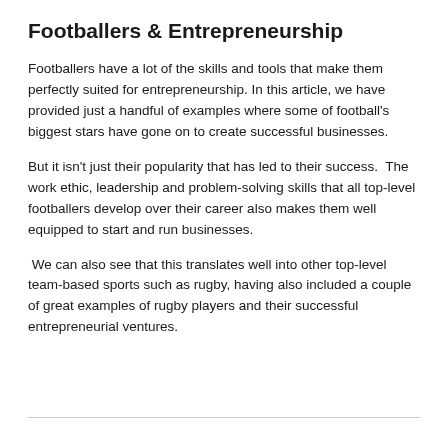Footballers & Entrepreneurship
Footballers have a lot of the skills and tools that make them perfectly suited for entrepreneurship. In this article, we have provided just a handful of examples where some of football's biggest stars have gone on to create successful businesses.
But it isn't just their popularity that has led to their success.  The work ethic, leadership and problem-solving skills that all top-level footballers develop over their career also makes them well equipped to start and run businesses.
We can also see that this translates well into other top-level team-based sports such as rugby, having also included a couple of great examples of rugby players and their successful entrepreneurial ventures.